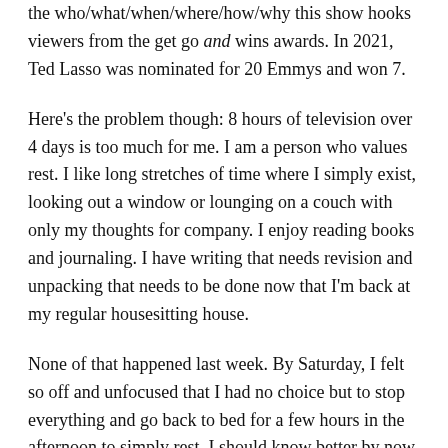the who/what/when/where/how/why this show hooks viewers from the get go and wins awards. In 2021, Ted Lasso was nominated for 20 Emmys and won 7.
Here's the problem though: 8 hours of television over 4 days is too much for me. I am a person who values rest. I like long stretches of time where I simply exist, looking out a window or lounging on a couch with only my thoughts for company. I enjoy reading books and journaling. I have writing that needs revision and unpacking that needs to be done now that I'm back at my regular housesitting house.
None of that happened last week. By Saturday, I felt so off and unfocused that I had no choice but to stop everything and go back to bed for a few hours in the afternoon to simply rest. I should know better by now.
Hats off to you, Ted Lasso. You managed to crack my carefully cultivated sense of mindfulness and well-being. It's